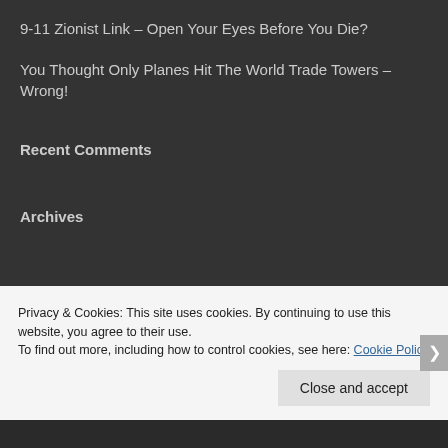9-11 Zionist Link – Open Your Eyes Before You Die?
You Thought Only Planes Hit The World Trade Towers – Wrong!
Recent Comments
Archives
Privacy & Cookies: This site uses cookies. By continuing to use this website, you agree to their use.
To find out more, including how to control cookies, see here: Cookie Policy
Close and accept